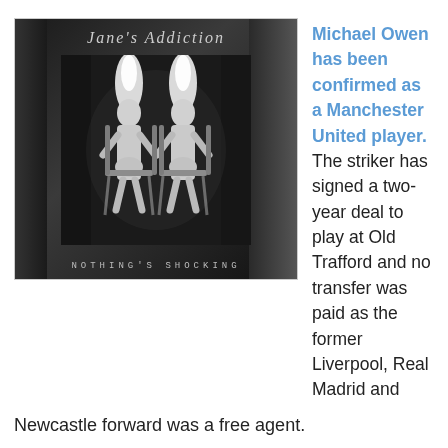[Figure (photo): Black and white album cover for Jane's Addiction 'Nothing's Shocking' showing two nude female figures seated in rocking chairs with flames on their heads, with cursive 'Jane's Addiction' text at top and 'NOTHING'S SHOCKING' text at bottom]
Michael Owen has been confirmed as a Manchester United player. The striker has signed a two-year deal to play at Old Trafford and no transfer was paid as the former Liverpool, Real Madrid and
Newcastle forward was a free agent.
The Editor at 9:46 AM    No comments:
Share